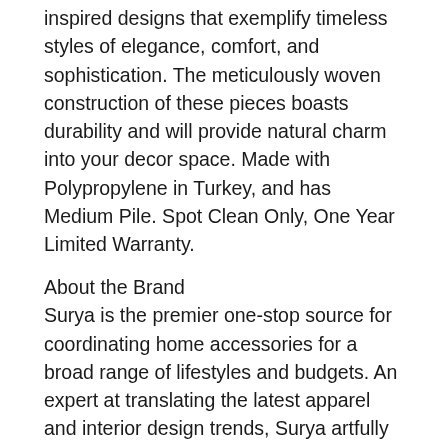The Chelsea Collection showcases traditional inspired designs that exemplify timeless styles of elegance, comfort, and sophistication. The meticulously woven construction of these pieces boasts durability and will provide natural charm into your decor space. Made with Polypropylene in Turkey, and has Medium Pile. Spot Clean Only, One Year Limited Warranty.
About the Brand
Surya is the premier one-stop source for coordinating home accessories for a broad range of lifestyles and budgets. An expert at translating the latest apparel and interior design trends, Surya artfully combines color, pattern and texture to offer more than 60,000 fashion-forward products, including rugs, pillows, throws, lighting, art, mirrors, accent furniture, decorative accents, and bedding.